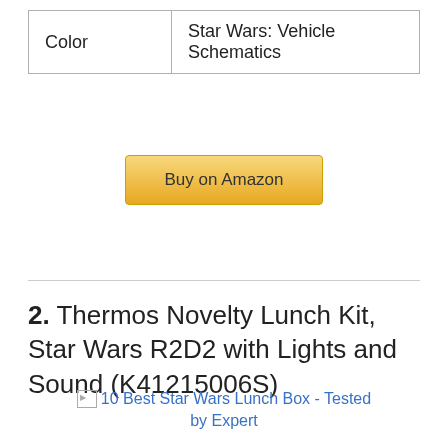| Color | Star Wars: Vehicle Schematics |
Buy on Amazon
2. Thermos Novelty Lunch Kit, Star Wars R2D2 with Lights and Sound (K41215006S)
[Figure (other): Broken image placeholder with link text: 10 Best Star Wars Lunch Box - Tested by Expert]